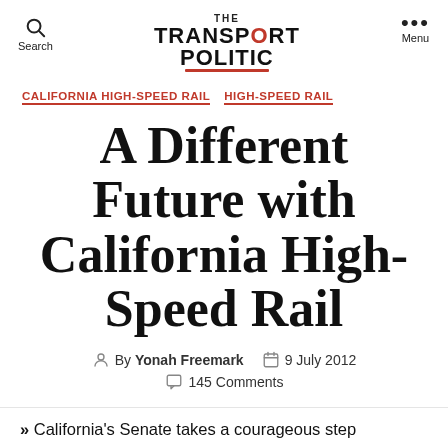The Transport Politic — Search | Menu
CALIFORNIA HIGH-SPEED RAIL   HIGH-SPEED RAIL
A Different Future with California High-Speed Rail
By Yonah Freemark   9 July 2012   145 Comments
» California's Senate takes a courageous step